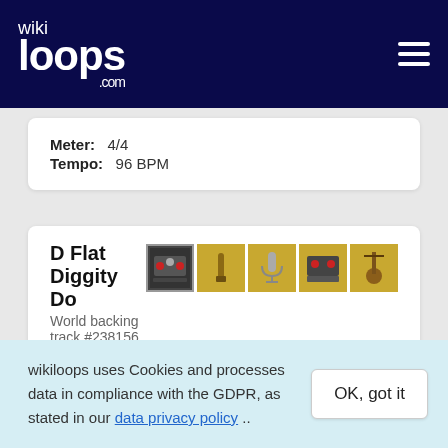wikiloops.com
Meter: 4/4
Tempo: 96 BPM
D Flat Diggity Do
World backing track #238156
[Figure (photo): Four small instrument thumbnail images: mixer/keyboard, microphone/pen, microphone, mixer board, guitar]
Tempo: 99 BPM
Musical key: Db major
Sounds like: World,
wikiloops uses Cookies and processes data in compliance with the GDPR, as stated in our data privacy policy ..